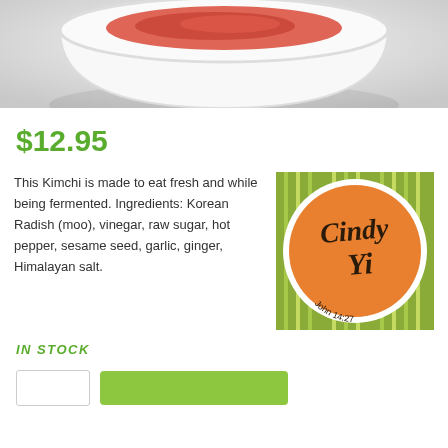[Figure (photo): Top portion of a white bowl with food (kimchi) photographed from above on a light background]
$12.95
This Kimchi is made to eat fresh and while being fermented. Ingredients: Korean Radish (moo), vinegar, raw sugar, hot pepper, sesame seed, garlic, ginger, Himalayan salt.
[Figure (logo): Cindy Yi brand logo — orange circle with cursive text 'Cindy Yi' and 'John 14:27' on a green striped background]
IN STOCK